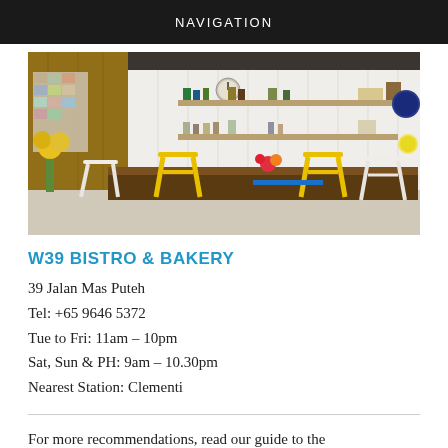NAVIGATION
[Figure (photo): Interior of W39 Bistro & Bakery cafe showing wooden tables with yellow and white cross-back chairs, shelves with products on white paneled walls, a clock, flower arrangements, and decorative plates]
W39 BISTRO & BAKERY
39 Jalan Mas Puteh
Tel: +65 9646 5372
Tue to Fri: 11am – 10pm
Sat, Sun & PH: 9am – 10.30pm
Nearest Station: Clementi
For more recommendations, read our guide to the